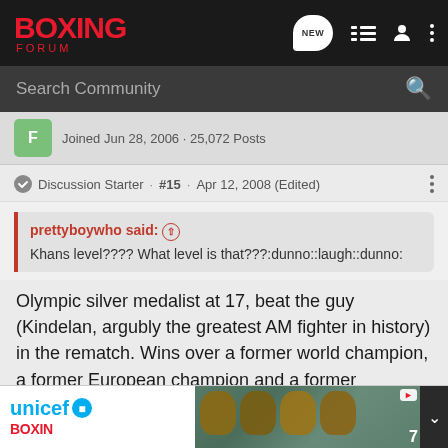[Figure (screenshot): Boxing Forum navigation bar with red BOXING FORUM logo on black background, and navigation icons including NEW bubble, list icon, user icon, and vertical dots menu]
Search Community
Joined Jun 28, 2006 · 25,072 Posts
Discussion Starter · #15 · Apr 12, 2008 (Edited)
prettyboywho said: ↑
Khans level???? What level is that???:dunno::laugh::dunno:
Olympic silver medalist at 17, beat the guy (Kindelan, argubly the greatest AM fighter in history) in the rematch. Wins over a former world champion, a former European champion and a former comomwealth champion. The level thats left him mando to the two best fighters in the division.
[Figure (screenshot): Advertisement banner showing UNICEF logo and boxing forum branding with image of children in the background]